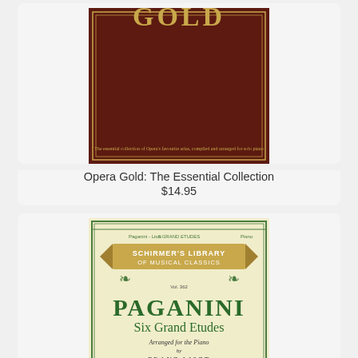[Figure (photo): Book cover of Opera Gold: The Essential Collection - dark maroon/brown leather-look cover with gold title text at top]
Opera Gold: The Essential Collection
$14.95
[Figure (photo): Book cover of Paganini Six Grand Etudes arranged for Piano by Franz Liszt - Schirmer's Library of Musical Classics, pale yellow cover with green decorative border and green text]